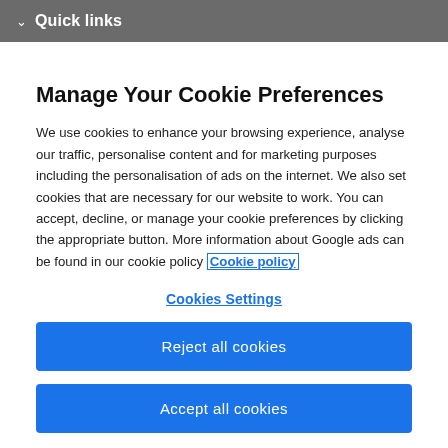Quick links
Manage Your Cookie Preferences
We use cookies to enhance your browsing experience, analyse our traffic, personalise content and for marketing purposes including the personalisation of ads on the internet. We also set cookies that are necessary for our website to work. You can accept, decline, or manage your cookie preferences by clicking the appropriate button. More information about Google ads can be found in our cookie policy Cookie policy
Cookies Settings
Reject all cookies
Accept all cookies